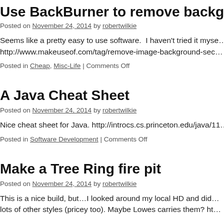Use BackBurner to remove backgrounds
Posted on November 24, 2014 by robertwilkie
Seems like a pretty easy to use software.  I haven't tried it myse… http://www.makeuseof.com/tag/remove-image-background-sec…
Posted in Cheap, Misc-Life | Comments Off
A Java Cheat Sheet
Posted on November 24, 2014 by robertwilkie
Nice cheat sheet for Java. http://introcs.cs.princeton.edu/java/11…
Posted in Software Development | Comments Off
Make a Tree Ring fire pit
Posted on November 24, 2014 by robertwilkie
This is a nice build, but…I looked around my local HD and did… lots of other styles (pricey too).  Maybe Lowes carries them? ht…